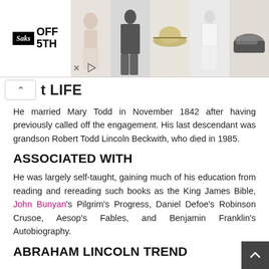[Figure (photo): Saks OFF 5TH advertisement banner showing logo on left and fashion product images (swimwear, hat, white romper, shoes) on right, with close and play controls at bottom left]
t LIFE
He married Mary Todd in November 1842 after having previously called off the engagement. His last descendant was grandson Robert Todd Lincoln Beckwith, who died in 1985.
ASSOCIATED WITH
He was largely self-taught, gaining much of his education from reading and rereading such books as the King James Bible, John Bunyan's Pilgrim's Progress, Daniel Defoe's Robinson Crusoe, Aesop's Fables, and Benjamin Franklin's Autobiography.
ABRAHAM LINCOLN TREND